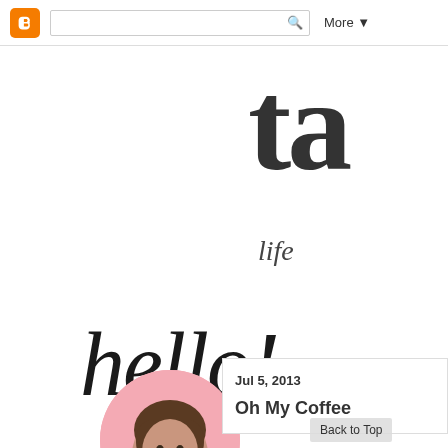Blogger navigation bar with search box and More button
ta
life
[Figure (illustration): Handwritten cursive script reading 'hello!']
[Figure (photo): Circular cropped profile photo of a person with dark hair on a pink background]
Jul 5, 2013
Oh My Coffee
Back to Top